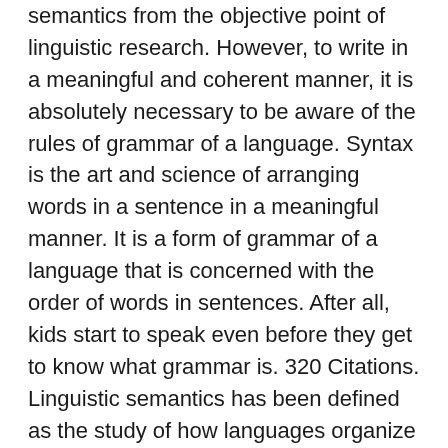semantics from the objective point of linguistic research. However, to write in a meaningful and coherent manner, it is absolutely necessary to be aware of the rules of grammar of a language. Syntax is the art and science of arranging words in a sentence in a meaningful manner. It is a form of grammar of a language that is concerned with the order of words in sentences. After all, kids start to speak even before they get to know what grammar is. 320 Citations. Linguistic semantics has been defined as the study of how languages organize and express meanings. Abstract. A semantic grammar uses phrase structure rules as a syntactic grammar does, but its constituents are classified in terms of function or meaning rather than syntactic categories. • Syntax is the branch of grammar that deals with the order of